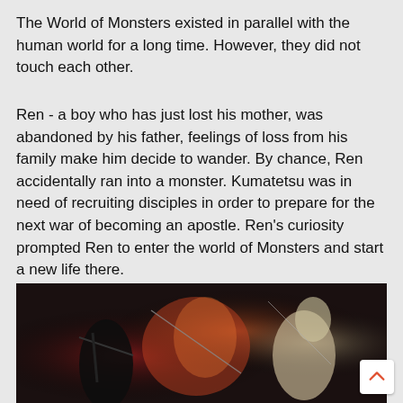The World of Monsters existed in parallel with the human world for a long time. However, they did not touch each other.
Ren - a boy who has just lost his mother, was abandoned by his father, feelings of loss from his family make him decide to wander. By chance, Ren accidentally ran into a monster. Kumatetsu was in need of recruiting disciples in order to prepare for the next war of becoming an apostle. Ren's curiosity prompted Ren to enter the world of Monsters and start a new life there.
Drifters
[Figure (illustration): Anime illustration showing armored characters with weapons in a dark, dramatic scene with fire and light effects]